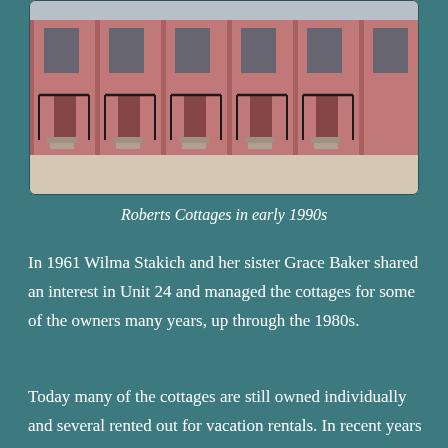[Figure (photo): Photograph of Roberts Cottages showing pink/salmon colored building facades with black railings and steps, taken in the early 1990s]
Roberts Cottages in early 1990s
In 1961 Wilma Stakich and her sister Grace Baker shared an interest in Unit 24 and managed the cottages for some of the owners many years, up through the 1980s.
Today many of the cottages are still owned individually and several rented out for vacation rentals. In recent years owners took to painting the cottages in different colors rather than the traditional pink they have been known for many decades. However, today the cottages